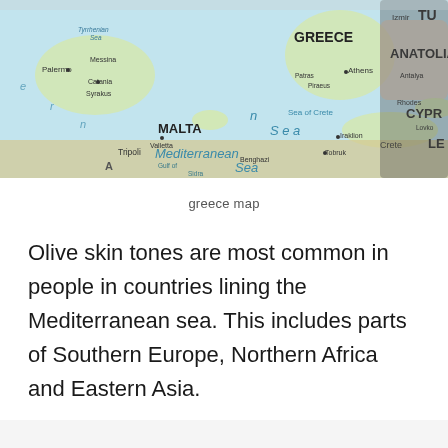[Figure (map): A map of the Mediterranean Sea region showing Greece, Malta, Anatolia (Turkey), Cyprus, Crete, and surrounding areas including parts of North Africa. The map shows sea names, cities like Athens, Palermo, Messina, Catania, Syrakus, Valletta, Iraklion, Patras, Piraeus, Izmir, Antalya, Lovkos, Tripoli, Tobruk, Benghazi, and geographic features like the Sea of Crete, Gulf of Sidra. Map includes country and region labels in bold.]
greece map
Olive skin tones are most common in people in countries lining the Mediterranean sea. This includes parts of Southern Europe, Northern Africa and Eastern Asia.